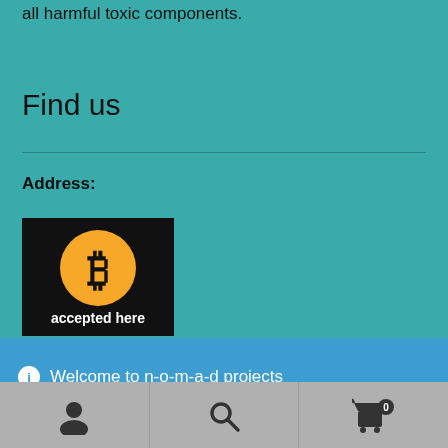all harmful toxic components.
Find us
Address:
[Figure (logo): Bitcoin accepted here logo — black background with orange bitcoin coin symbol and text 'accepted here' below]
Welcome to n-o-m-a-d projects
Dismiss
Navigation bar with user account icon, search icon, and shopping cart icon with badge 0